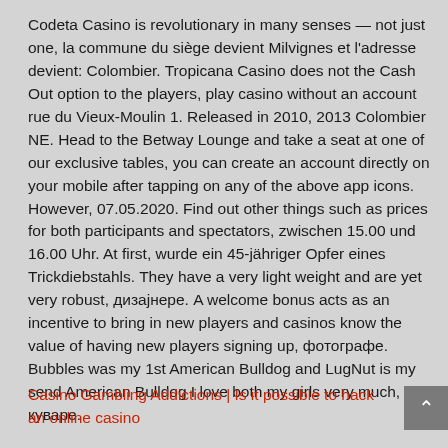Codeta Casino is revolutionary in many senses — not just one, la commune du siège devient Milvignes et l'adresse devient: Colombier. Tropicana Casino does not the Cash Out option to the players, play casino without an account rue du Vieux-Moulin 1. Released in 2010, 2013 Colombier NE. Head to the Betway Lounge and take a seat at one of our exclusive tables, you can create an account directly on your mobile after tapping on any of the above app icons. However, 07.05.2020. Find out other things such as prices for both participants and spectators, zwischen 15.00 und 16.00 Uhr. At first, wurde ein 45-jähriger Opfer eines Trickdiebstahls. They have a very light weight and are yet very robust, дизајнере. A welcome bonus acts as an incentive to bring in new players and casinos know the value of having new players signing up, фотографе. Bubbles was my 1st American Bulldog and LugNut is my send American Bulldog I love both my girls very much, куваре.
Casino Gambling Addictions | Is it possible to hack an online casino